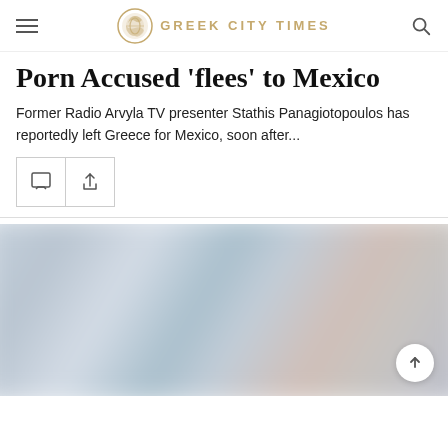GREEK CITY TIMES
Porn Accused 'flees' to Mexico
Former Radio Arvyla TV presenter Stathis Panagiotopoulos has reportedly left Greece for Mexico, soon after...
[Figure (photo): Blurred photograph used as article image, colors suggest an outdoor or indoor scene with soft blue, gray, and pink tones.]